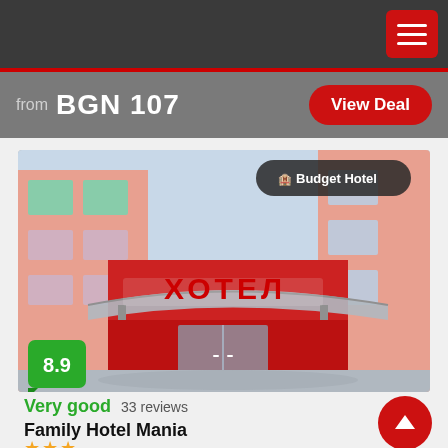from BGN 107
View Deal
[Figure (photo): Exterior of Family Hotel Mania showing a red-painted building with a curved canopy bearing the Cyrillic text ХОТЕЛ (Hotel) in large red letters. A 'Budget Hotel' badge appears in the upper-right corner of the photo. A green score badge showing 8.9 is at the bottom-left.]
Budget Hotel
8.9
Very good  33 reviews
Family Hotel Mania
★★★